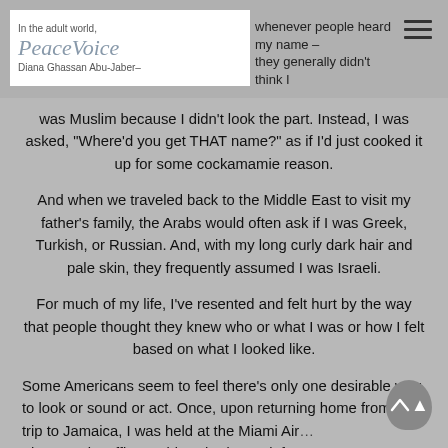In the adult world, whenever people heard my name – Diana Ghassan Abu-Jaber– they generally didn't think I was Muslim because I didn't look the part. Instead, I was asked, "Where'd you get THAT name?" as if I'd just cooked it up for some cockamamie reason.
And when we traveled back to the Middle East to visit my father's family, the Arabs would often ask if I was Greek, Turkish, or Russian. And, with my long curly dark hair and pale skin, they frequently assumed I was Israeli.
For much of my life, I've resented and felt hurt by the way that people thought they knew who or what I was or how I felt based on what I looked like.
Some Americans seem to feel there's only one desirable way to look or sound or act. Once, upon returning home from a trip to Jamaica, I was held at the Miami Air… The security officer said we had to wait for my name to